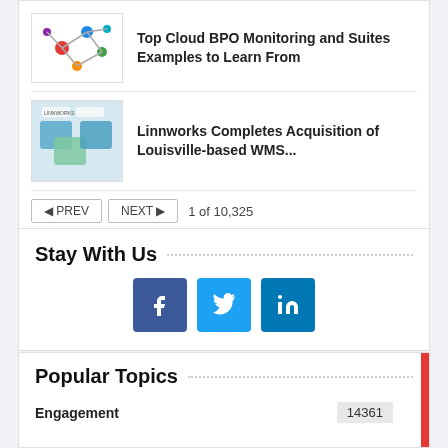[Figure (illustration): Thumbnail image of a network diagram with colorful nodes and connections on white background]
Top Cloud BPO Monitoring and Suites Examples to Learn From
[Figure (photo): Thumbnail image of puzzle pieces being assembled, with Linnworks and another logo visible]
Linnworks Completes Acquisition of Louisville-based WMS...
PREV   NEXT   1 of 10,325
Stay With Us
[Figure (infographic): Social media icons: Facebook, Twitter, LinkedIn]
Popular Topics
Engagement   14361